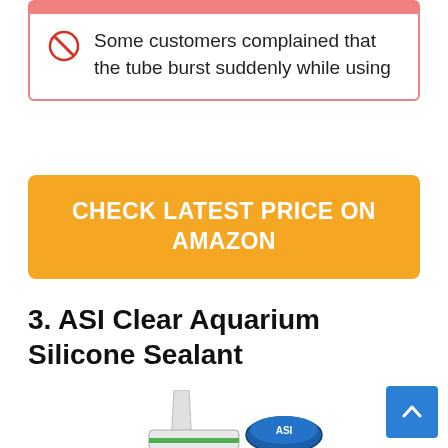Some customers complained that the tube burst suddenly while using
CHECK LATEST PRICE ON AMAZON
3. ASI Clear Aquarium Silicone Sealant
[Figure (photo): ASI Clear Aquarium Silicone Sealant product image, partially visible at bottom of page]